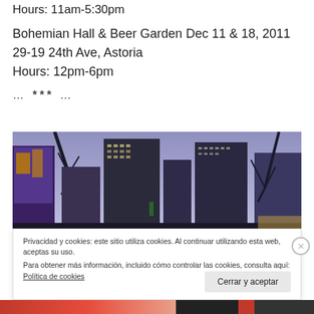Hours: 11am-5:30pm
Bohemian Hall & Beer Garden Dec 11 & 18, 2011
29-19 24th Ave, Astoria
Hours: 12pm-6pm
… *** …
[Figure (photo): Upward-looking photo of urban buildings and bare trees with purple-tinted sky, city skyline view]
Privacidad y cookies: este sitio utiliza cookies. Al continuar utilizando esta web, aceptas su uso.
Para obtener más información, incluido cómo controlar las cookies, consulta aquí: Política de cookies
Cerrar y aceptar